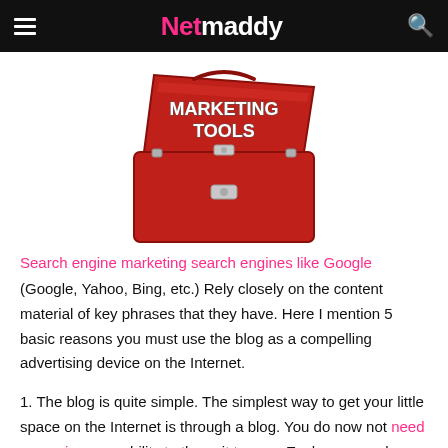Netmaddy
[Figure (illustration): Red metal toolbox with white block letters reading 'MARKETING TOOLS' on the open lid]
Search engine marketing search engines like Google
(Google, Yahoo, Bing, etc.) Rely closely on the content material of key phrases that they have. Here I mention 5 basic reasons you must use the blog as a compelling advertising device on the Internet.
1. The blog is quite simple. The simplest way to get your little space on the Internet is through a blog. You do now not need any unique capability to throw it to go… Each person who